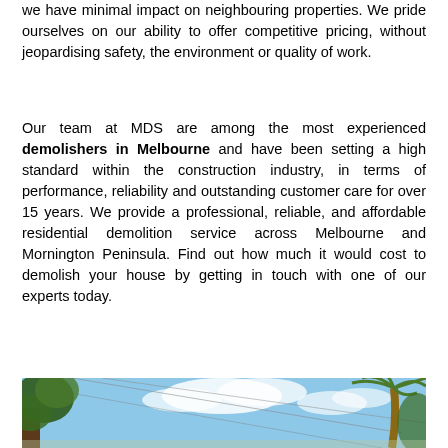we have minimal impact on neighbouring properties. We pride ourselves on our ability to offer competitive pricing, without jeopardising safety, the environment or quality of work.
Our team at MDS are among the most experienced demolishers in Melbourne and have been setting a high standard within the construction industry, in terms of performance, reliability and outstanding customer care for over 15 years. We provide a professional, reliable, and affordable residential demolition service across Melbourne and Mornington Peninsula. Find out how much it would cost to demolish your house by getting in touch with one of our experts today.
[Figure (photo): Outdoor scene with trees and sky, including a palm tree on the right and a leafy tree on the left, against a blue sky with clouds.]